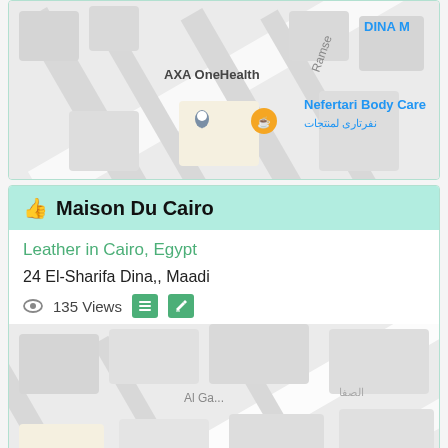[Figure (map): Partial map view showing AXA OneHealth pin, a coffee shop pin, Ramse street, Nefertari Body Care label in blue with Arabic text, and DINA M label in top right corner.]
Maison Du Cairo
Leather in Cairo, Egypt
24 El-Sharifa Dina,, Maadi
135 Views
[Figure (map): Map showing Nuniz Cairo Home goods store, Nuniz Cairo Bag shop, SOLEX TECH label, G NURSERY SCHOOL AT..., and a location pin marker. Al Ga... street and Al Safa label visible.]
Leather Corner
Leather in Cairo, Egypt
Gamal Ahmed Al Gamal, Mohanmed Madi...